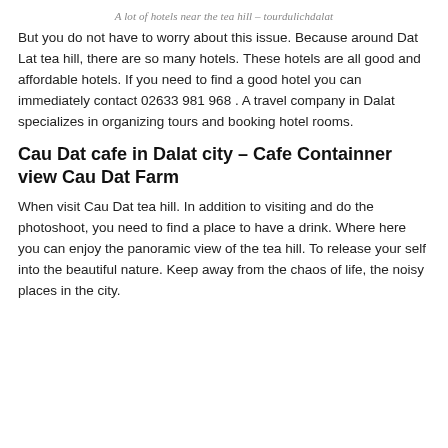A lot of hotels near the tea hill – tourdulichdalat
But you do not have to worry about this issue. Because around Dat Lat tea hill, there are so many hotels. These hotels are all good and affordable hotels. If you need to find a good hotel you can immediately contact 02633 981 968 . A travel company in Dalat specializes in organizing tours and booking hotel rooms.
Cau Dat cafe in Dalat city – Cafe Containner view Cau Dat Farm
When visit Cau Dat tea hill. In addition to visiting and do the photoshoot, you need to find a place to have a drink. Where here you can enjoy the panoramic view of the tea hill. To release your self into the beautiful nature. Keep away from the chaos of life, the noisy places in the city.